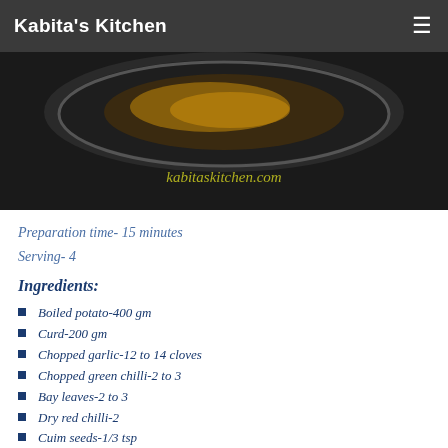Kabita's Kitchen
[Figure (photo): Dark background photo showing a dish on a plate with kabitaskitchen.com watermark text visible in yellow-green]
Preparation time- 15 minutes
Serving- 4
Ingredients:
Boiled potato-400 gm
Curd-200 gm
Chopped garlic-12 to 14 cloves
Chopped green chilli-2 to 3
Bay leaves-2 to 3
Dry red chilli-2
Cuim seeds-1/3 tsp
Mustard seeds-1/3 tsp
Kalonji /onion seeds/nigella seeds-1/3 tsp